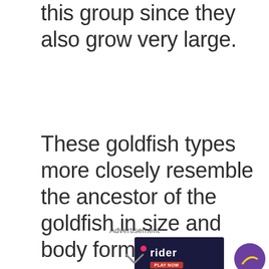this group since they also grow very large.
These goldfish types more closely resemble the ancestor of the goldfish in size and body form.
Advertisement
[Figure (screenshot): Advertisement banner showing a game called 'rider' with a play now button on a dark navy background with a red dot, and a partially visible purple circle on the right side.]